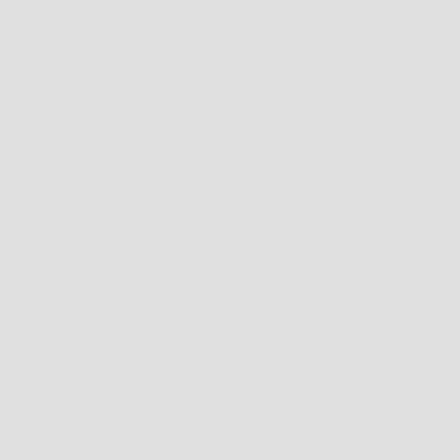Research Research. I noticed on the intention to sign All Trials Petition". It until after the printed edition went to sign, though in fact they signed almo had already done so). That's good. I Rang, who is president elect of the B its responsibilities to the public more
The MHRA, on the other hand, is sti public that drugs work.
13 March 2013. A reply to this piece British Pharmacological Society chan Rang who, as president elect of the B defends the BPS membership of ES and then the BMA withdrew their su and doctors launched a campaign, Medical Schools Council, which also guidance has 'identified deficiencies before signing? Rang says that the B statement with the ABPI. That's goo to the original form.
On the points about quackery, Rang vanished) but fails to mention th